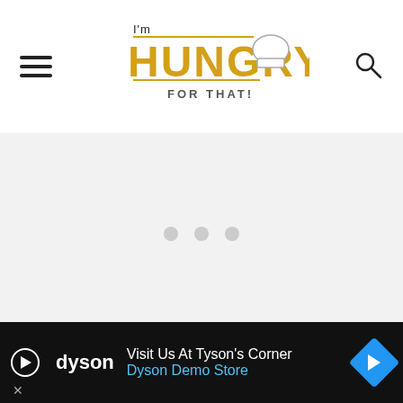[Figure (logo): I'm Hungry For That food blog logo with chef hat graphic, golden/yellow stylized text, hamburger menu icon on left, search icon on right]
[Figure (other): Loading placeholder area with three grey dots on light grey background]
STORING SAUSAGE AND
[Figure (other): Dyson advertisement banner: 'Visit Us At Tyson's Corner / Dyson Demo Store' with play button, dyson logo, and blue navigation icon]